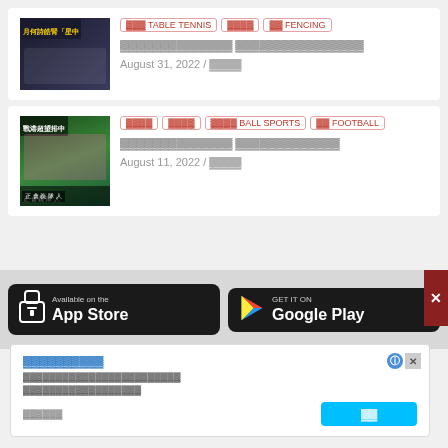[Figure (photo): Sports awards ceremony photo with people in formal wear, text overlay in Chinese and yellow characters]
TABLE TENNIS | FENCING — news article card with date August 31, 2022
[Figure (photo): Football team group photo in pink uniforms, Chinese text overlay]
BALL SPORTS | FOOTBALL — news article card with date August 11, 2022
[Figure (infographic): App download banner: Available on the App Store and GET IT ON Google Play]
Advertisement with Chinese link text, description text, and a call-to-action button